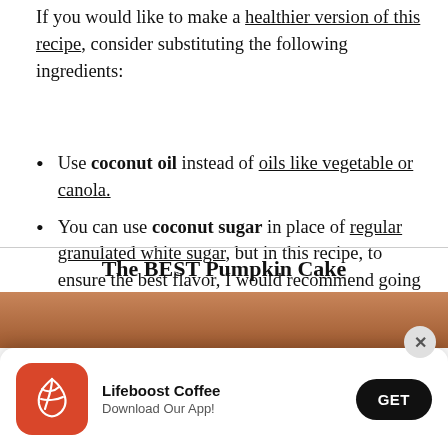If you would like to make a healthier version of this recipe, consider substituting the following ingredients:
Use coconut oil instead of oils like vegetable or canola.
You can use coconut sugar in place of regular granulated white sugar, but in this recipe, to ensure the best flavor, I would recommend going with an organic cane sugar.
Use almond or coconut flour instead of all-purpose flour.
The BEST Pumpkin Cake
[Figure (photo): Food photo partially visible at bottom of page]
[Figure (infographic): Lifeboost Coffee app advertisement popup with orange icon, brand name, Download Our App tagline, and GET button]